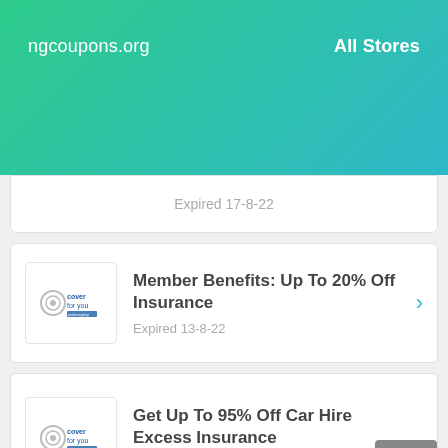ngcoupons.org   All Stores
Expired 17-8-22
Member Benefits: Up To 20% Off Insurance
Expired 13-8-22
Get Up To 95% Off Car Hire Excess Insurance
Expired 11-8-22
Promo Code